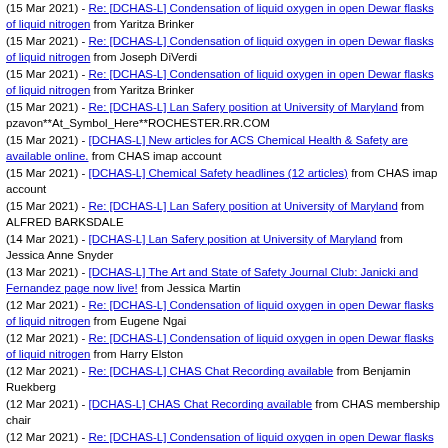(15 Mar 2021) - Re: [DCHAS-L] Condensation of liquid oxygen in open Dewar flasks of liquid nitrogen from Yaritza Brinker
(15 Mar 2021) - Re: [DCHAS-L] Condensation of liquid oxygen in open Dewar flasks of liquid nitrogen from Joseph DiVerdi
(15 Mar 2021) - Re: [DCHAS-L] Condensation of liquid oxygen in open Dewar flasks of liquid nitrogen from Yaritza Brinker
(15 Mar 2021) - Re: [DCHAS-L] Lan Safery position at University of Maryland from pzavon**At_Symbol_Here**ROCHESTER.RR.COM
(15 Mar 2021) - [DCHAS-L] New articles for ACS Chemical Health & Safety are available online. from CHAS imap account
(15 Mar 2021) - [DCHAS-L] Chemical Safety headlines (12 articles) from CHAS imap account
(15 Mar 2021) - Re: [DCHAS-L] Lan Safery position at University of Maryland from ALFRED BARKSDALE
(14 Mar 2021) - [DCHAS-L] Lan Safery position at University of Maryland from Jessica Anne Snyder
(13 Mar 2021) - [DCHAS-L] The Art and State of Safety Journal Club: Janicki and Fernandez page now live! from Jessica Martin
(12 Mar 2021) - Re: [DCHAS-L] Condensation of liquid oxygen in open Dewar flasks of liquid nitrogen from Eugene Ngai
(12 Mar 2021) - Re: [DCHAS-L] Condensation of liquid oxygen in open Dewar flasks of liquid nitrogen from Harry Elston
(12 Mar 2021) - Re: [DCHAS-L] CHAS Chat Recording available from Benjamin Ruekberg
(12 Mar 2021) - [DCHAS-L] CHAS Chat Recording available from CHAS membership chair
(12 Mar 2021) - Re: [DCHAS-L] Condensation of liquid oxygen in open Dewar flasks of liquid nitrogen from Joseph Smith
(12 Mar 2021) - Re: [DCHAS-L] Condensation of liquid oxygen in open Dewar flasks of liquid nitrogen from Safety Emporium Support Team
(12 Mar 2021) - Re: [DCHAS-L] Condensation of liquid oxygen in open Dewar flasks of liquid nitrogen from TILAK CHANDRA
(12 Mar 2021) - Re: [DCHAS-L] Condensation of liquid oxygen in open